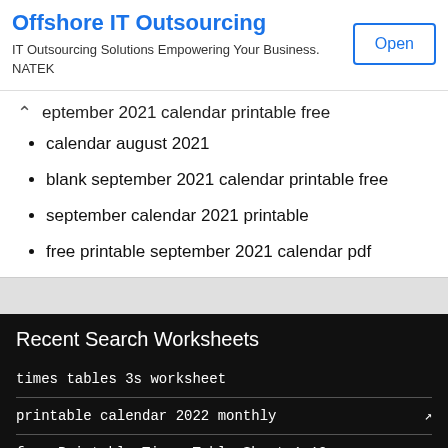[Figure (screenshot): Advertisement banner for Offshore IT Outsourcing by NATEK with an Open button]
september 2021 calendar printable free
calendar august 2021
blank september 2021 calendar printable free
september calendar 2021 printable
free printable september 2021 calendar pdf
Recent Search Worksheets
times tables 3s worksheet
printable calendar 2022 monthly
free Printable Times Table Sheet 1-12